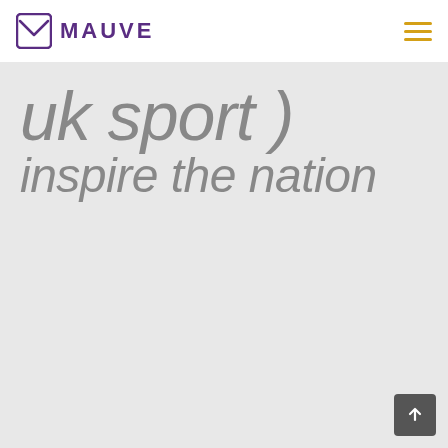MAUVE
[Figure (logo): Mauve company logo with purple envelope/letter icon and MAUVE wordmark in purple, plus a hamburger menu icon in gold/yellow on the right]
uk sport )
inspire the nation